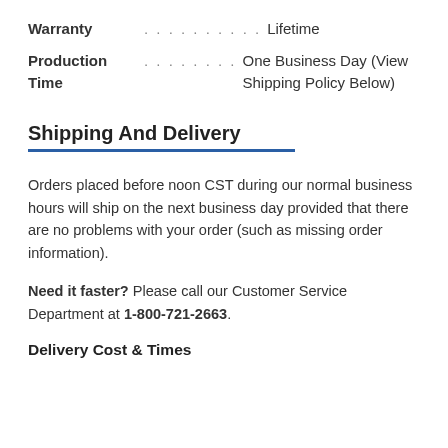Warranty .......... Lifetime
Production Time ......... One Business Day (View Shipping Policy Below)
Shipping And Delivery
Orders placed before noon CST during our normal business hours will ship on the next business day provided that there are no problems with your order (such as missing order information).
Need it faster? Please call our Customer Service Department at 1-800-721-2663.
Delivery Cost & Times